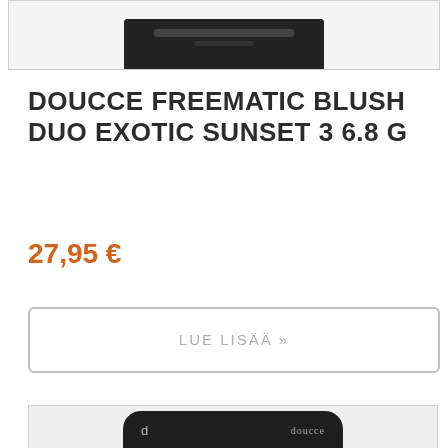[Figure (photo): Top portion of a Doucce makeup compact product shown from above, dark/black case, cropped at top]
DOUCCE FREEMATIC BLUSH DUO EXOTIC SUNSET 3 6.8 G
27,95 €
LUE LISÄÄ »
[Figure (photo): Doucce makeup compact product partially visible, black case with Doucce logo, shown at bottom of page]